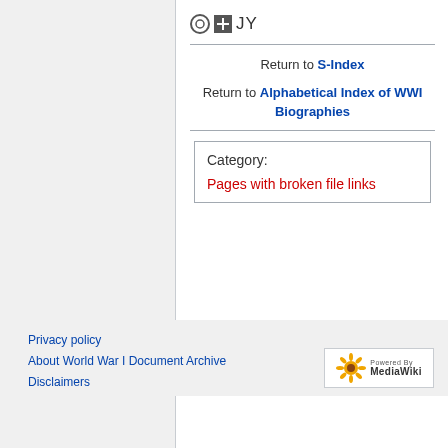[Figure (logo): Icons (circle and plus box) followed by text 'JY']
Return to S-Index
Return to Alphabetical Index of WWI Biographies
Category:
Pages with broken file links
Privacy policy
About World War I Document Archive
Disclaimers
[Figure (logo): Powered by MediaWiki logo with sunflower icon]